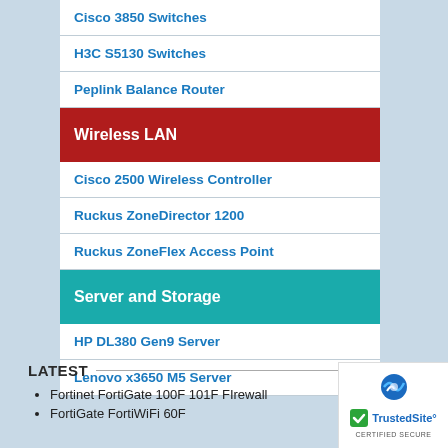Cisco 3850 Switches
H3C S5130 Switches
Peplink Balance Router
Wireless LAN
Cisco 2500 Wireless Controller
Ruckus ZoneDirector 1200
Ruckus ZoneFlex Access Point
Server and Storage
HP DL380 Gen9 Server
Lenovo x3650 M5 Server
LATEST
Fortinet FortiGate 100F 101F FIrewall
FortiGate FortiWiFi 60F